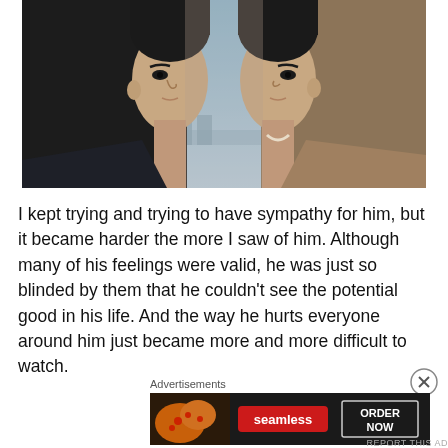[Figure (photo): Two young Asian men facing each other closely, nearly nose-to-nose, against a sky background with a cityscape visible. One wears a dark jacket, the other a tan/camel jacket.]
I kept trying and trying to have sympathy for him, but it became harder the more I saw of him. Although many of his feelings were valid, he was just so blinded by them that he couldn't see the potential good in his life. And the way he hurts everyone around him just became more and more difficult to watch.
Advertisements
[Figure (other): Seamless food delivery advertisement showing pizza slices on the left, the Seamless logo in red in the center, and an 'ORDER NOW' button on the right against a dark background.]